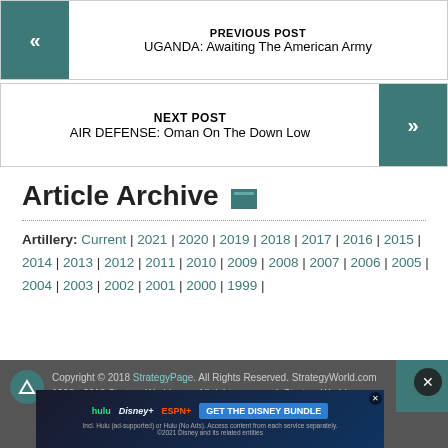PREVIOUS POST
UGANDA: Awaiting The American Army
NEXT POST
AIR DEFENSE: Oman On The Down Low
Article Archive
Artillery: Current | 2021 | 2020 | 2019 | 2018 | 2017 | 2016 | 2015 | 2014 | 2013 | 2012 | 2011 | 2010 | 2009 | 2008 | 2007 | 2006 | 2005 | 2004 | 2003 | 2002 | 2001 | 2000 | 1999 |
Copyright © 2018 StrategyPage. All Rights Reserved. StrategyWorld.com 1998 - 2018 StrategyWorld.com. All rights reserved. StrategyWorld.com